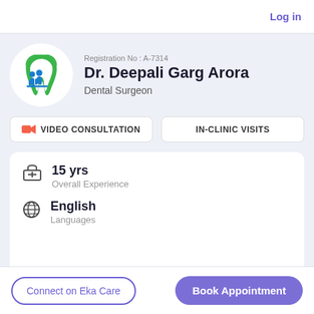Log in
Registration No : A-7314
Dr. Deepali Garg Arora
Dental Surgeon
VIDEO CONSULTATION
IN-CLINIC VISITS
15 yrs
Overall Experience
English
Languages
Connect on Eka Care
Book Appointment